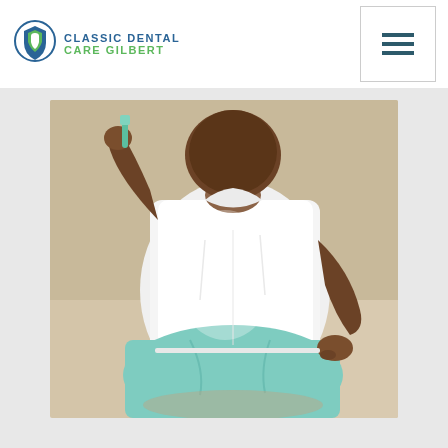[Figure (logo): Classic Dental Care Gilbert logo with tooth shield icon in blue and green]
[Figure (photo): Young child in white t-shirt and light blue/mint pants sitting, holding a toothbrush near their mouth]